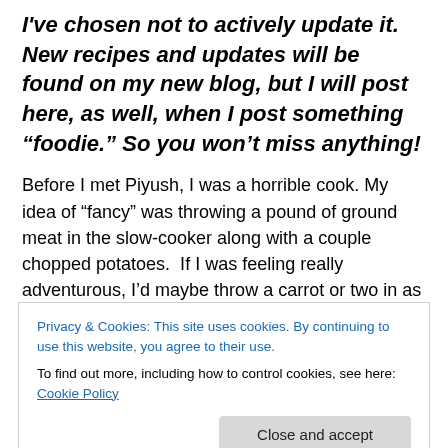I've chosen not to actively update it. New recipes and updates will be found on my new blog, but I will post here, as well, when I post something “foodie.” So you won’t miss anything!
Before I met Piyush, I was a horrible cook. My idea of “fancy” was throwing a pound of ground meat in the slow-cooker along with a couple chopped potatoes.  If I was feeling really adventurous, I’d maybe throw a carrot or two in as well.  It’s true!  My “crack-pot” creations were legendary!  …and I don’t mean that in a good way.
Privacy & Cookies: This site uses cookies. By continuing to use this website, you agree to their use.
To find out more, including how to control cookies, see here: Cookie Policy
Close and accept